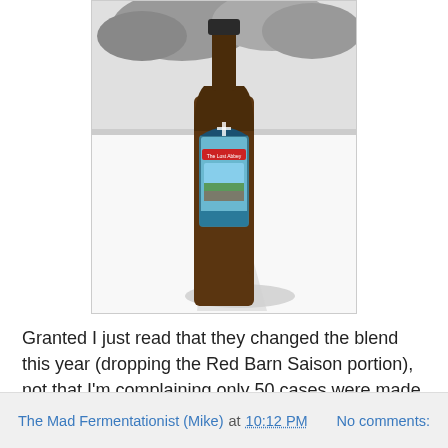[Figure (photo): A brown glass beer bottle with a blue label (The Lost Abbey brand) sitting on a windowsill. The background is a black-and-white snowy outdoor scene visible through the window. The bottle casts a shadow on the white windowsill.]
Granted I just read that they changed the blend this year (dropping the Red Barn Saison portion), not that I'm complaining only 50 cases were made this year.
The Mad Fermentationist (Mike) at 10:12 PM    No comments: